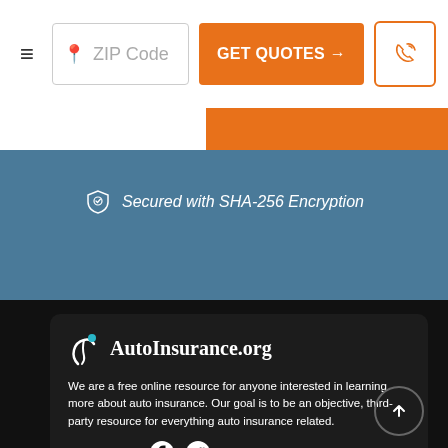ZIP Code | GET QUOTES → | phone icon
Secured with SHA-256 Encryption
[Figure (logo): AutoInsurance.org logo with stylized 'j' icon and dot]
We are a free online resource for anyone interested in learning more about auto insurance. Our goal is to be an objective, third-party resource for everything auto insurance related.
Follow us on:
Company
About
Contact Us
Editorial Guidelines